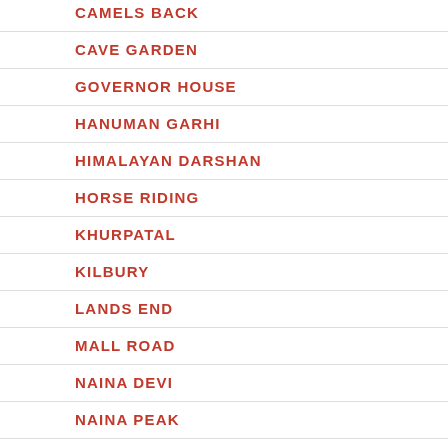CAMELS BACK
CAVE GARDEN
GOVERNOR HOUSE
HANUMAN GARHI
HIMALAYAN DARSHAN
HORSE RIDING
KHURPATAL
KILBURY
LANDS END
MALL ROAD
NAINA DEVI
NAINA PEAK
NAINI LAKE